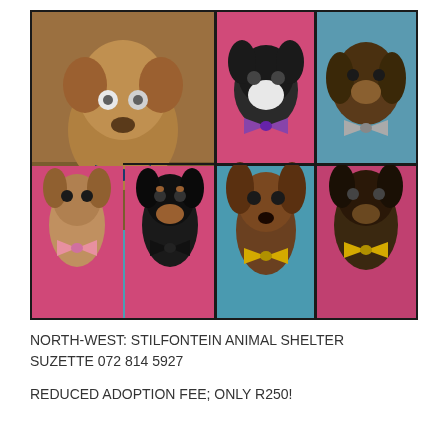[Figure (photo): A collage of 7 dogs wearing bow ties, posed for adoption photos at an animal shelter. Photos show various small dogs on pink and teal blankets. Top-left: large brown dog with navy bow tie on teal blanket. Top-center: black and white dog with purple bow tie on pink blanket. Top-right: dachshund-type dog with silver bow tie on teal blanket. Middle-center: small dog with yellow bow tie on teal blanket. Middle-right: small dark dog with yellow bow tie on pink blanket. Bottom-left: small dog with pink bow tie on pink blanket. Bottom-center-left: small black and tan dog with black bow tie on pink blanket.]
NORTH-WEST: STILFONTEIN ANIMAL SHELTER
SUZETTE 072 814 5927
REDUCED ADOPTION FEE; ONLY R250!